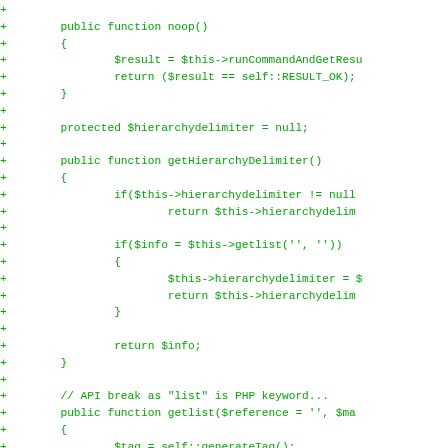[Figure (other): Code diff showing PHP class methods: noop(), getHierarchyDelimiter(), and beginning of getlist() method, displayed as green diff additions on white background]